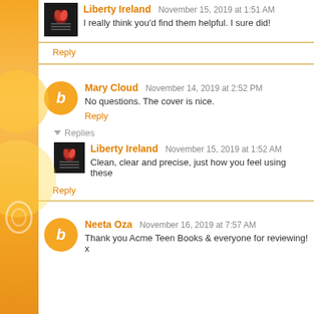Liberty Ireland November 15, 2019 at 1:51 AM
I really think you'd find them helpful. I sure did!
Reply
Mary Cloud November 14, 2019 at 2:52 PM
No questions. The cover is nice.
Reply
Replies
Liberty Ireland November 15, 2019 at 1:52 AM
Clean, clear and precise, just how you feel using these
Reply
Neeta Oza November 16, 2019 at 7:57 AM
Thank you Acme Teen Books & everyone for reviewing! x